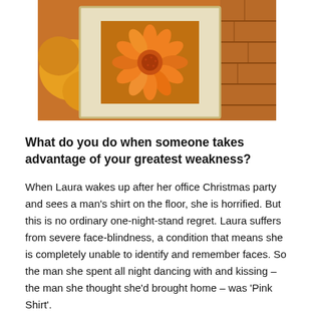[Figure (photo): A framed orange/yellow chrysanthemum flower photograph against a background of orange flowers, displayed on a wooden surface]
What do you do when someone takes advantage of your greatest weakness?
When Laura wakes up after her office Christmas party and sees a man's shirt on the floor, she is horrified. But this is no ordinary one-night-stand regret. Laura suffers from severe face-blindness, a condition that means she is completely unable to identify and remember faces. So the man she spent all night dancing with and kissing – the man she thought she'd brought home – was 'Pink Shirt'.
But the shirt on her floor is blue. And now Laura must go